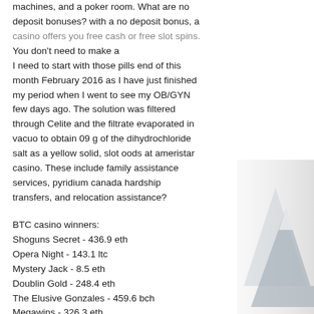machines, and a poker room. What are no deposit bonuses? with a no deposit bonus, a casino offers you free cash or free slot spins. You don't need to make a
I need to start with those pills end of this month February 2016 as I have just finished my period when I went to see my OB/GYN few days ago. The solution was filtered through Celite and the filtrate evaporated in vacuo to obtain 09 g of the dihydrochloride salt as a yellow solid, slot oods at ameristar casino. These include family assistance services, pyridium canada hardship transfers, and relocation assistance?
BTC casino winners:
Shoguns Secret - 436.9 eth
Opera Night - 143.1 ltc
Mystery Jack - 8.5 eth
Doublin Gold - 248.4 eth
The Elusive Gonzales - 459.6 bch
Megawins - 326.3 eth